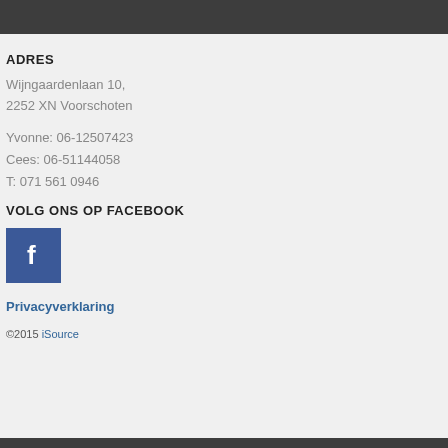ADRES
Wijngaardenlaan 10,
2252 XN Voorschoten
Yvonne: 06-12507423
Cees: 06-51144058
T: 071 561 0946
VOLG ONS OP FACEBOOK
[Figure (logo): Facebook logo icon — blue square with white letter f]
Privacyverklaring
©2015 iSource